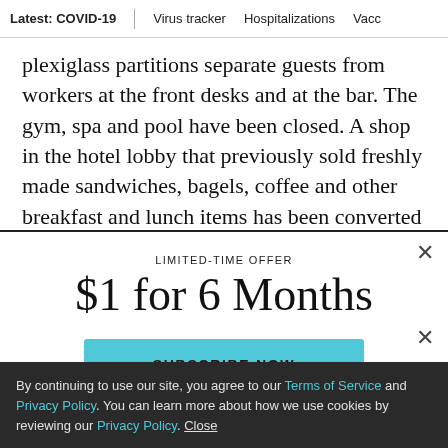Latest: COVID-19 | Virus tracker | Hospitalizations | Vacc
plexiglass partitions separate guests from workers at the front desks and at the bar. The gym, spa and pool have been closed. A shop in the hotel lobby that previously sold freshly made sandwiches, bagels, coffee and other breakfast and lunch items has been converted to sell
LIMITED-TIME OFFER
$1 for 6 Months
SUBSCRIBE NOW
By continuing to use our site, you agree to our Terms of Service and Privacy Policy. You can learn more about how we use cookies by reviewing our Privacy Policy. Close